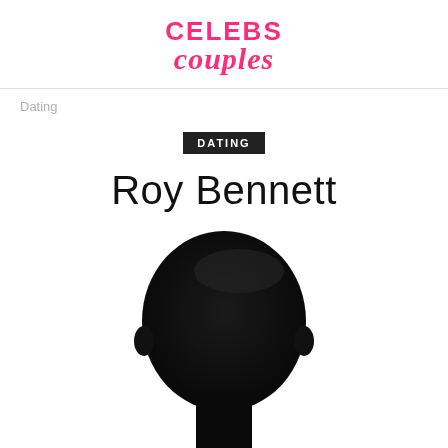CELEBS couples
Dating
DATING
Roy Bennett
[Figure (photo): Dark silhouette of a human head/face against a white background, showing the outline of a bald or closely-cropped head facing forward]